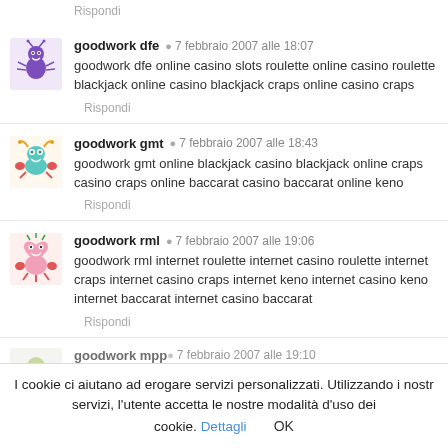Rispondi
goodwork dfe · 7 febbraio 2007 alle 18:07
goodwork dfe online casino slots roulette online casino roulette blackjack online casino blackjack craps online casino craps
Rispondi
goodwork gmt · 7 febbraio 2007 alle 18:43
goodwork gmt online blackjack casino blackjack online craps casino craps online baccarat casino baccarat online keno
Rispondi
goodwork rml · 7 febbraio 2007 alle 19:06
goodwork rml internet roulette internet casino roulette internet craps internet casino craps internet keno internet casino keno internet baccarat internet casino baccarat
Rispondi
goodwork mpp · 7 febbraio 2007 alle 19:10
I cookie ci aiutano ad erogare servizi personalizzati. Utilizzando i nostri servizi, l'utente accetta le nostre modalità d'uso dei cookie. Dettagli OK